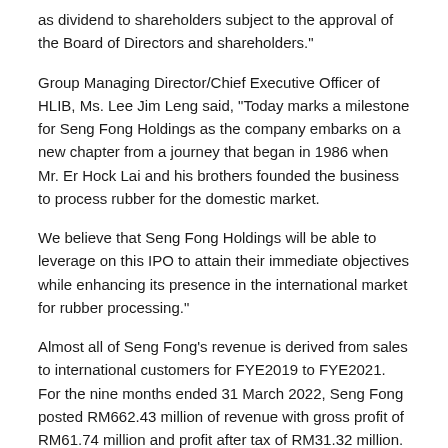as dividend to shareholders subject to the approval of the Board of Directors and shareholders."
Group Managing Director/Chief Executive Officer of HLIB, Ms. Lee Jim Leng said, "Today marks a milestone for Seng Fong Holdings as the company embarks on a new chapter from a journey that began in 1986 when Mr. Er Hock Lai and his brothers founded the business to process rubber for the domestic market.
We believe that Seng Fong Holdings will be able to leverage on this IPO to attain their immediate objectives while enhancing its presence in the international market for rubber processing."
Almost all of Seng Fong's revenue is derived from sales to international customers for FYE2019 to FYE2021. For the nine months ended 31 March 2022, Seng Fong posted RM662.43 million of revenue with gross profit of RM61.74 million and profit after tax of RM31.32 million.
Seng Fong Holdings Bhd: http://sengfongholdings.com/
Contact Profile